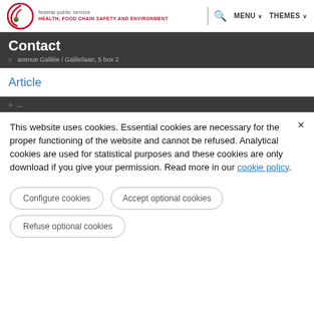federal public service HEALTH, FOOD CHAIN SAFETY AND ENVIRONMENT | MENU THEMES
Contact
avenue Galilée / Galileïlaan, 5 box 2
Article
This website uses cookies. Essential cookies are necessary for the proper functioning of the website and cannot be refused. Analytical cookies are used for statistical purposes and these cookies are only download if you give your permission. Read more in our cookie policy.
Configure cookies
Accept optional cookies
Refuse optional cookies